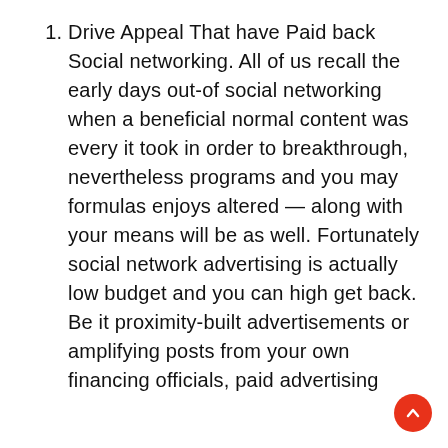Drive Appeal That have Paid back Social networking. All of us recall the early days out-of social networking when a beneficial normal content was every it took in order to breakthrough, nevertheless programs and you may formulas enjoys altered — along with your means will be as well. Fortunately social network advertising is actually low budget and you can high get back. Be it proximity-built advertisements or amplifying posts from your own financing officials, paid advertising